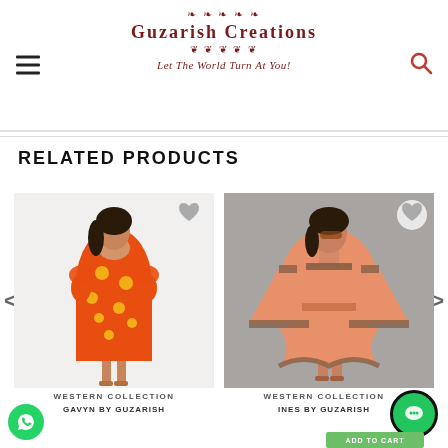Guzarish Creations — Let The World Turn At You!
RELATED PRODUCTS
[Figure (photo): Woman wearing an orange floral printed midi dress with puff sleeves, posing on white background. Heart/wishlist icon overlaid top right.]
WESTERN COLLECTION
GAVYN BY GUZARISH
[Figure (photo): Woman wearing a peach/salmon kaftan style dress with printed border trim, posed on grey background. Heart/wishlist icon overlaid top right.]
WESTERN COLLECTION
INES BY GUZARISH